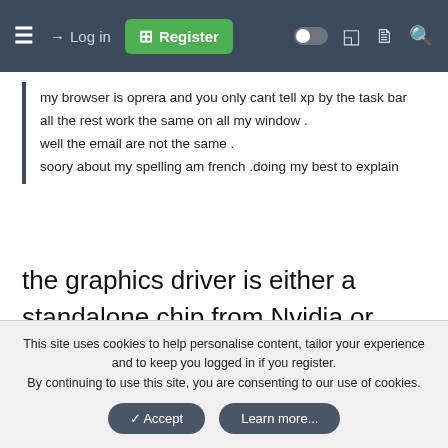Log in | Register
my browser is oprera and you only cant tell xp by the task bar all the rest work the same on all my window .
well the email are not the same .
soory about my spelling am french .doing my best to explain
the graphics driver is either a standalone chip from Nvidia or Amd or integrated ie using the onboard chip of the intel/amd cpu, now these are all dx11 capable which xp isn't which again leads us to the problem of driver support being lackluster but possible depending, but
This site uses cookies to help personalise content, tailor your experience and to keep you logged in if you register.
By continuing to use this site, you are consenting to our use of cookies.